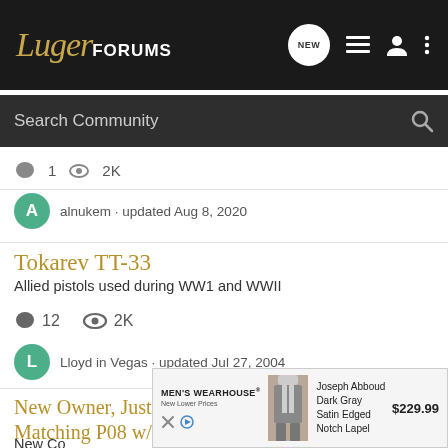LugerFORUMS
Search Community
alnukem · updated Aug 8, 2020
Tokarev TT-33
Allied pistols used during WW1 and WWII
12  2K
Lloyd in Vegas · updated Jul 27, 2004
New Owner, Just Bought What Seems to be #'s Matching P08 w/ Very Few Markings - Need Help Identify
New Co
[Figure (screenshot): Men's Wearhouse advertisement showing Joseph Abboud Dark Gray Satin Edged Notch Lapel suit priced at $229.99]